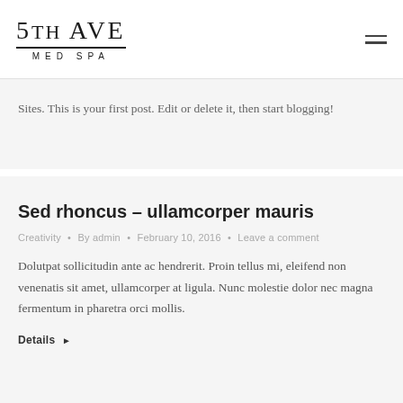5TH Ave MED SPA
Sites. This is your first post. Edit or delete it, then start blogging!
Sed rhoncus – ullamcorper mauris
Creativity • By admin • February 10, 2016 • Leave a comment
Dolutpat sollicitudin ante ac hendrerit. Proin tellus mi, eleifend non venenatis sit amet, ullamcorper at ligula. Nunc molestie dolor nec magna fermentum in pharetra orci mollis.
Details ▶